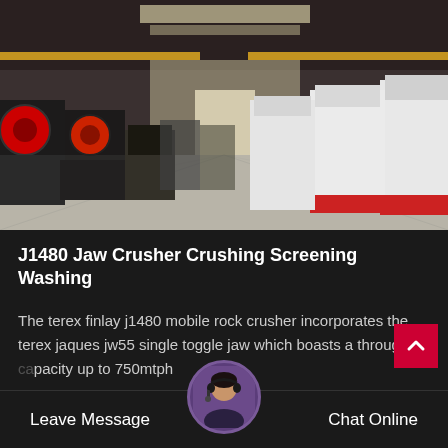[Figure (photo): Interior of a large industrial warehouse showing multiple jaw crushers and impact crushers lined up on both sides of a wide concrete floor. The machinery is white and dark colored with red accents. The warehouse has a high ceiling with overhead crane rails and skylights.]
J1480 Jaw Crusher Crushing Screening Washing
The terex finlay j1480 mobile rock crusher incorporates the terex jaques jw55 single toggle jaw which boasts a throughput capacity up to 750mtph